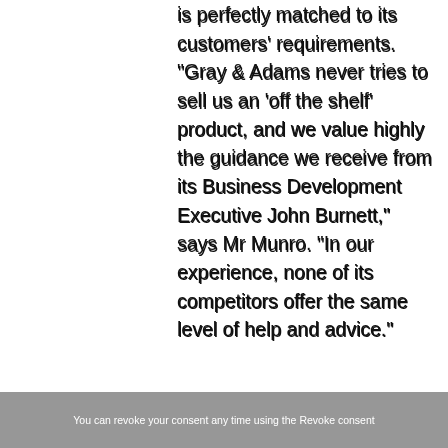is perfectly matched to its customers' requirements. "Gray & Adams never tries to sell us an 'off the shelf' product, and we value highly the guidance we receive from its Business Development Executive John Burnett," says Mr Munro. "In our experience, none of its competitors offer the same level of help and advice."
He continues: "Gray & Adams equipment always commands strong residual values and we've found its vehicles a lot easier to sell than others we've run in the past, while the after sales back-up is first class too. Any problems have invariably been of our own making – one of our drivers might have damaged the body when reversing, for example. One quick call is all it's taken and the repair has then been dealt with very
You can revoke your consent any time using the Revoke consent